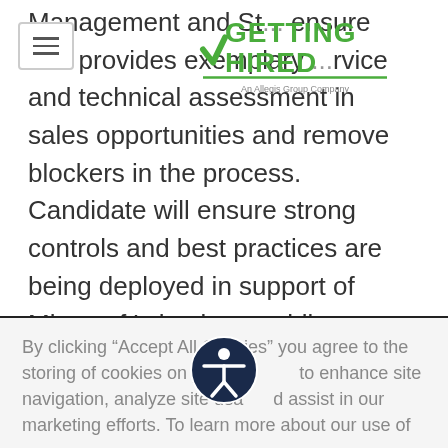[Figure (logo): Getting Hired logo — green bold text 'GETTING HIRED' with a green checkmark/arrow, subtitle 'An Allegis Group Company']
Management and St... ensure that provides exemplary ...rvice and technical assessment in sales opportunities and remove blockers in the process. Candidate will ensure strong controls and best practices are being deployed in support of Microsoft's business while achieving customer/partner compliance with contractual Terms & Conditions.
Skilled with managing contract vehicles such as CSP for Azure and Modern Workplace subscriptions really understand the Microsoft environment and are proficient in dealing with all aspects of it. Thorough understanding of cloud architectures and
By clicking “Accept All Cookies” you agree to the storing of cookies on your device to enhance site navigation, analyze site usage, and assist in our marketing efforts. To learn more about our use of